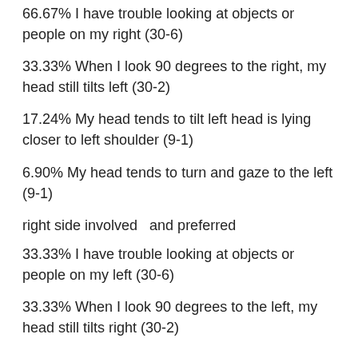66.67% I have trouble looking at objects or people on my right (30-6)
33.33% When I look 90 degrees to the right, my head still tilts left (30-2)
17.24% My head tends to tilt left head is lying closer to left shoulder (9-1)
6.90% My head tends to turn and gaze to the left (9-1)
right side involved  and preferred
33.33% I have trouble looking at objects or people on my left (30-6)
33.33% When I look 90 degrees to the left, my head still tilts right (30-2)